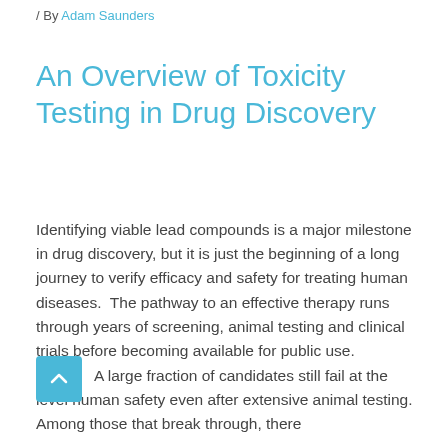/ By Adam Saunders
An Overview of Toxicity Testing in Drug Discovery
Identifying viable lead compounds is a major milestone in drug discovery, but it is just the beginning of a long journey to verify efficacy and safety for treating human diseases.  The pathway to an effective therapy runs through years of screening, animal testing and clinical trials before becoming available for public use.
A large fraction of candidates still fail at the level human safety even after extensive animal testing. Among those that break through, there